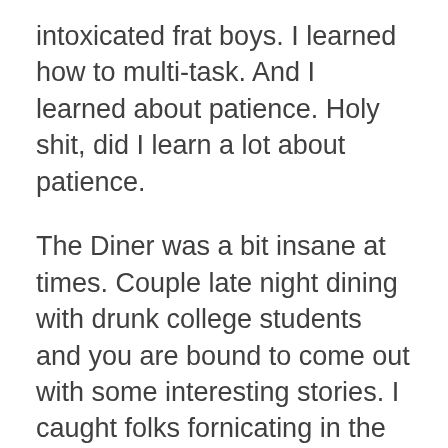intoxicated frat boys. I learned how to multi-task. And I learned about patience. Holy shit, did I learn a lot about patience.
The Diner was a bit insane at times. Couple late night dining with drunk college students and you are bound to come out with some interesting stories. I caught folks fornicating in the bathroom, in a booth, and in the basement. I watched a guy pass out in a plate of mac and cheese. I watched a girl pass out beneath a table. I watched hundreds of people puke. Oh, holy shit did I see my fair share of vomit.